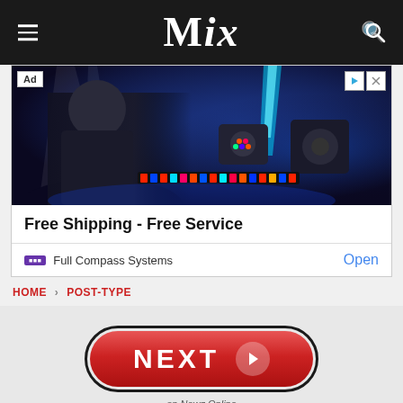MIX
[Figure (photo): Advertisement banner showing a man handling stage lighting equipment with colorful moving head lights and LED bars against a dark blue stage background. Shows 'Ad' badge. Text: 'Free Shipping - Free Service'. Brand: Full Compass Systems. Button: Open]
Free Shipping - Free Service
Full Compass Systems   Open
HOME > POST-TYPE
[Figure (other): Red pill-shaped NEXT button with right arrow, bordered in black. Label below reads 'on Newz Online']